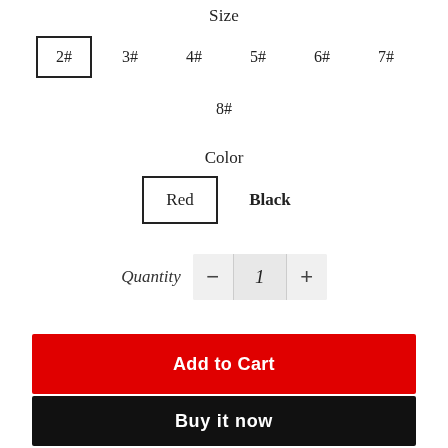Size
2# 3# 4# 5# 6# 7#
8#
Color
Red  Black
Quantity  -  1  +
Add to Cart
Buy it now